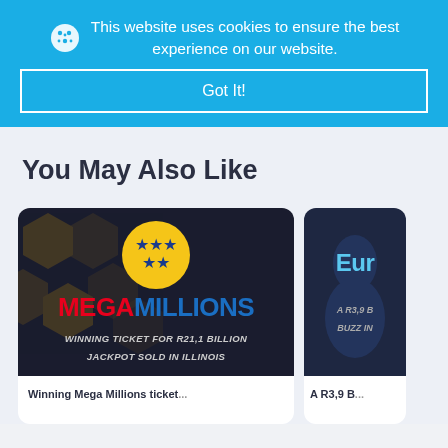This website uses cookies to ensure the best experience on our website.
Got It!
You May Also Like
[Figure (screenshot): Mega Millions lottery card with logo showing yellow circle with blue stars, text MEGAMILLIONS in red and blue, subtitle WINNING TICKET FOR R21,1 BILLION JACKPOT SOLD IN ILLINOIS]
[Figure (screenshot): Partial EuroMillions card visible on the right edge with blue text 'Eur' and partial text 'A R3,9 B' and 'BUZZ IN']
Winning Mega Millions ticket...
A R3,9 B...